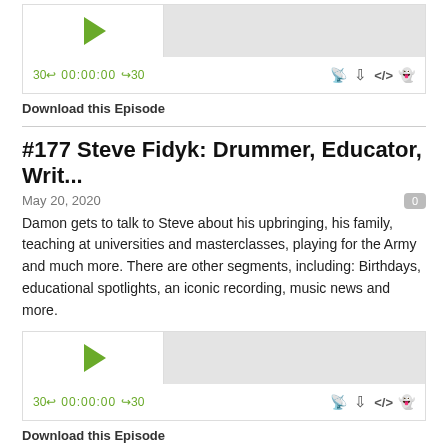[Figure (screenshot): Audio player widget at top of page showing play button, progress bar, time controls (30s back, 00:00:00, forward 30), and icons for stream, download, embed, and share]
Download this Episode
#177 Steve Fidyk: Drummer, Educator, Writ...
May 20, 2020
Damon gets to talk to Steve about his upbringing, his family, teaching at universities and masterclasses, playing for the Army and much more. There are other segments, including: Birthdays, educational spotlights, an iconic recording, music news and more.
[Figure (screenshot): Second audio player widget showing play button, progress bar, time controls (30s back, 00:00:00, forward 30), and icons for stream, download, embed, and share]
Download this Episode